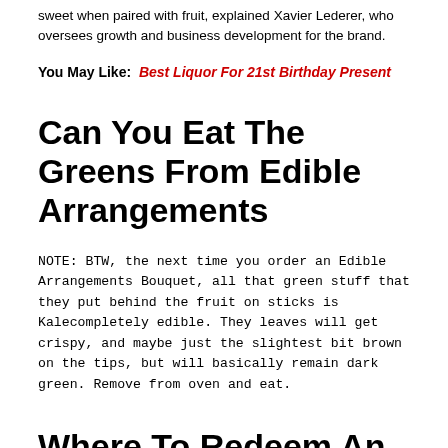sweet when paired with fruit, explained Xavier Lederer, who oversees growth and business development for the brand.
You May Like: Best Liquor For 21st Birthday Present
Can You Eat The Greens From Edible Arrangements
NOTE: BTW, the next time you order an Edible Arrangements Bouquet, all that green stuff that they put behind the fruit on sticks is Kalecompletely edible. They leaves will get crispy, and maybe just the slightest bit brown on the tips, but will basically remain dark green. Remove from oven and eat.
Where To Redeem An Edible Arrangements Coupon Code